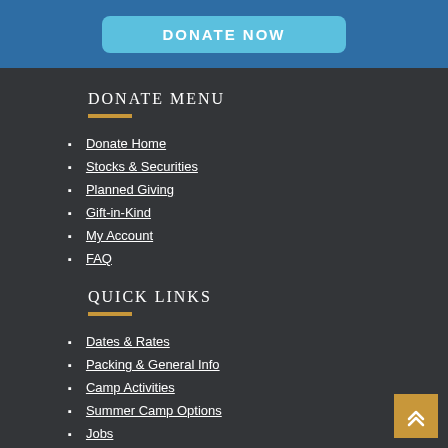[Figure (other): Blue banner with DONATE NOW button]
DONATE MENU
Donate Home
Stocks & Securities
Planned Giving
Gift-in-Kind
My Account
FAQ
QUICK LINKS
Dates & Rates
Packing & General Info
Camp Activities
Summer Camp Options
Jobs